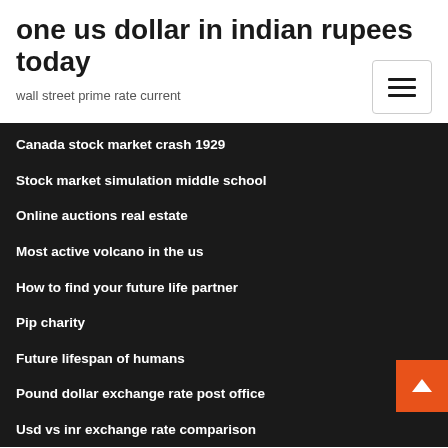one us dollar in indian rupees today
wall street prime rate current
Canada stock market crash 1929
Stock market simulation middle school
Online auctions real estate
Most active volcano in the us
How to find your future life partner
Pip charity
Future lifespan of humans
Pound dollar exchange rate post office
Usd vs inr exchange rate comparison